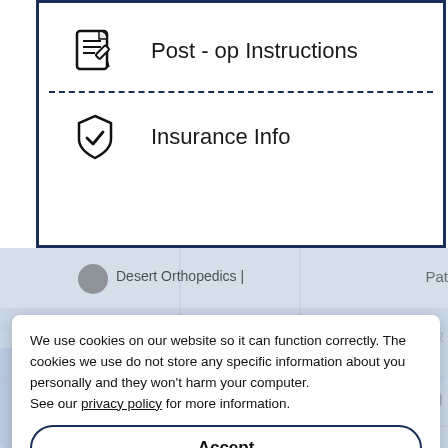[Figure (screenshot): Menu card with dark blue border showing 'Post - op Instructions' with a document/notepad icon, and 'Insurance Info' with a shield checkmark icon, separated by a dashed line.]
[Figure (map): Background map showing Desert Orthopedics locations including East Bend, Eden R, Desert Orthopedics Redmond, and Desert Orthopedics with map pins. Partially obscured by cookie consent banner.]
We use cookies on our website so it can function correctly. The cookies we use do not store any specific information about you personally and they won't harm your computer.
See our privacy policy for more information.
Accept